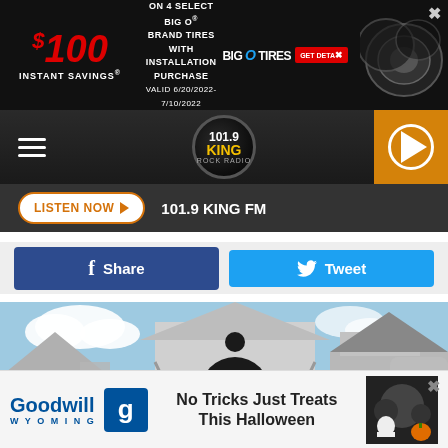[Figure (screenshot): Big O Tires advertisement banner: $100 instant savings on 4 select Big O brand tires with installation purchase. Valid 6/20/2022-7/10/2022. Big O Tires logo and GET DETAILS button.]
[Figure (logo): 101.9 KING FM radio station logo in circular badge with navigation hamburger menu and orange play button]
LISTEN NOW ▶  101.9 KING FM
[Figure (screenshot): Facebook Share button (dark blue) and Twitter Tweet button (light blue)]
[Figure (photo): Large white decorative birdhouse structures resembling gothic/Victorian architecture with arched windows, ornamental details, and grey roofs against a blue sky]
[Figure (screenshot): Goodwill Wyoming advertisement: No Tricks Just Treats This Halloween, with Goodwill logo and people in Halloween costumes]